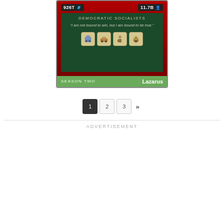[Figure (screenshot): Game card for Democratic Socialists faction, Season Two, character Lazarus. Shows stats 926T and 11.7B, a quote 'I am not bound to win, but I am bound to be true.', and four faction/ability icons. Card has dark red top, dark green body, and green bottom bar.]
1  2  3  »
ADVERTISEMENT